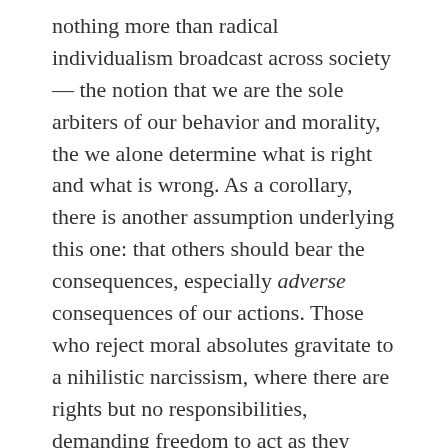nothing more than radical individualism broadcast across society — the notion that we are the sole arbiters of our behavior and morality, the we alone determine what is right and what is wrong. As a corollary, there is another assumption underlying this one: that others should bear the consequences, especially adverse consequences of our actions. Those who reject moral absolutes gravitate to a nihilistic narcissism, where there are rights but no responsibilities, demanding freedom to act as they please without thought for anyone else, all the while demanding that others rescue them from wreckage their behavior has wrought.
This battle of worldviews lies at the very heart of our culture wars, of the endless societal conflicts engendered over abortion, or religion in the public square, or the status of heterosexual marriage, or unrestricted sexual license, or any one a host of